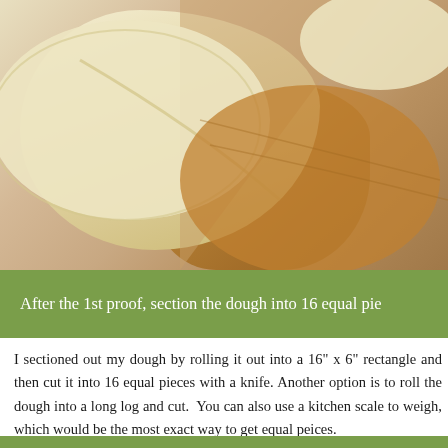[Figure (photo): Close-up photo of pale cream-colored dough pieces on a wooden cutting board surface, showing the texture of the dough after the first proof.]
After the 1st proof, section the dough into 16 equal pie
I sectioned out my dough by rolling it out into a 16" x 6" rectangle and then cut it into 16 equal pieces with a knife. Another option is to roll the dough into a long log and cut.  You can also use a kitchen scale to weigh, which would be the most exact way to get equal peices.